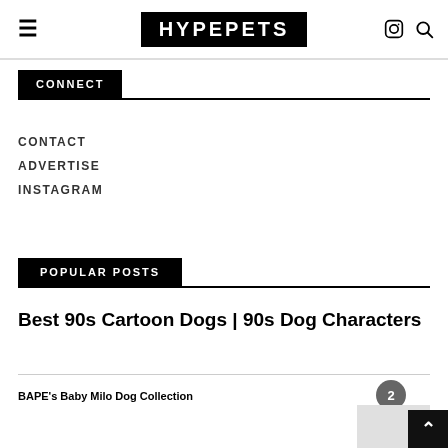HYPEPETS
CONNECT
CONTACT
ADVERTISE
INSTAGRAM
POPULAR POSTS
Best 90s Cartoon Dogs | 90s Dog Characters
BAPE's Baby Milo Dog Collection